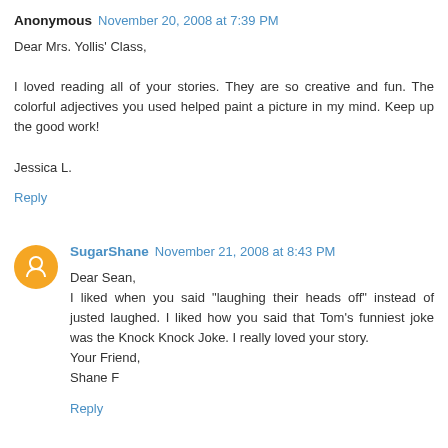Anonymous  November 20, 2008 at 7:39 PM
Dear Mrs. Yollis' Class,

I loved reading all of your stories. They are so creative and fun. The colorful adjectives you used helped paint a picture in my mind. Keep up the good work!

Jessica L.
Reply
SugarShane  November 21, 2008 at 8:43 PM
Dear Sean,
I liked when you said "laughing their heads off" instead of justed laughed. I liked how you said that Tom's funniest joke was the Knock Knock Joke. I really loved your story.
Your Friend,
Shane F
Reply